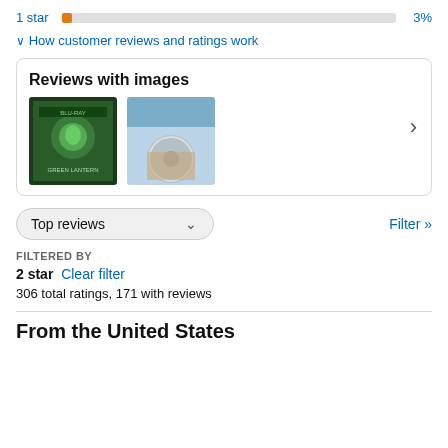1 star  3%
∨ How customer reviews and ratings work
Reviews with images
[Figure (photo): Two review thumbnail images: one showing Green Lantern Blu-ray cover, one showing a damaged disc in a case]
Top reviews  ∨  Filter »
FILTERED BY
2 star  Clear filter
306 total ratings, 171 with reviews
From the United States